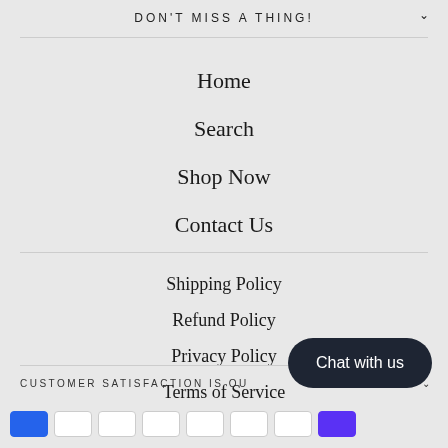DON'T MISS A THING!
Home
Search
Shop Now
Contact Us
Shipping Policy
Refund Policy
Privacy Policy
Terms of Service
CUSTOMER SATISFACTION IS OU
Chat with us